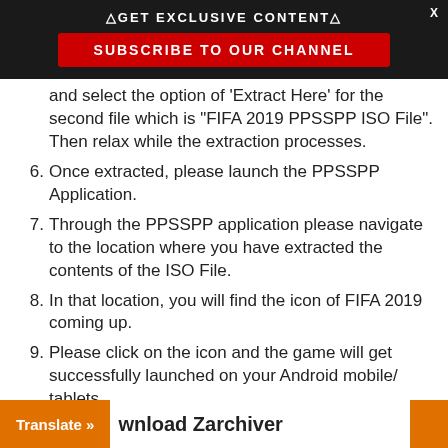△GET EXCLUSIVE CONTENT△
SUBSCRIBE TO OUR CHANNEL
and select the option of 'Extract Here' for the second file which is "FIFA 2019 PPSSPP ISO File". Then relax while the extraction processes.
6. Once extracted, please launch the PPSSPP Application.
7. Through the PPSSPP application please navigate to the location where you have extracted the contents of the ISO File.
8. In that location, you will find the icon of FIFA 2019 coming up.
9. Please click on the icon and the game will get successfully launched on your Android mobile/ tablets.
Translate »
wnload Zarchiver